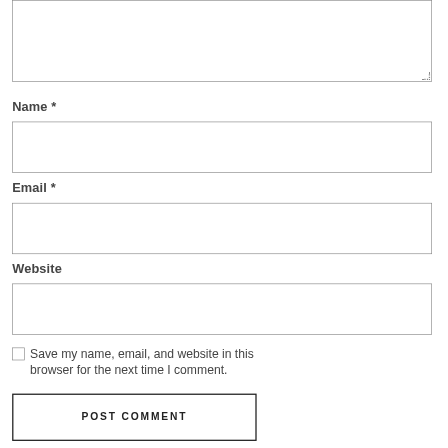[textarea — comment input box]
Name *
[Name input field]
Email *
[Email input field]
Website
[Website input field]
Save my name, email, and website in this browser for the next time I comment.
POST COMMENT
This site uses Akismet to reduce spam.